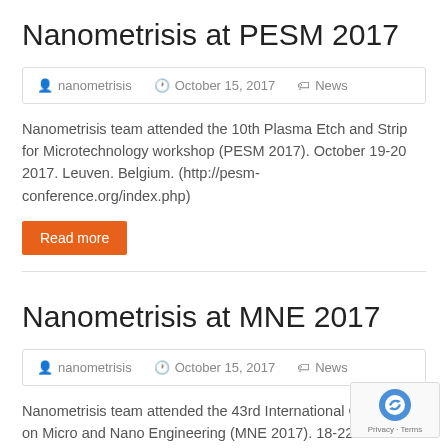Nanometrisis at PESM 2017
nanometrisis   October 15, 2017   News
Nanometrisis team attended the 10th Plasma Etch and Strip for Microtechnology workshop (PESM 2017). October 19-20 2017. Leuven. Belgium. (http://pesm-conference.org/index.php)
Read more
Nanometrisis at MNE 2017
nanometrisis   October 15, 2017   News
Nanometrisis team attended the 43rd International Conference on Micro and Nano Engineering (MNE 2017). 18-22/9/2017. Portugal. (http://mne2017.org/)